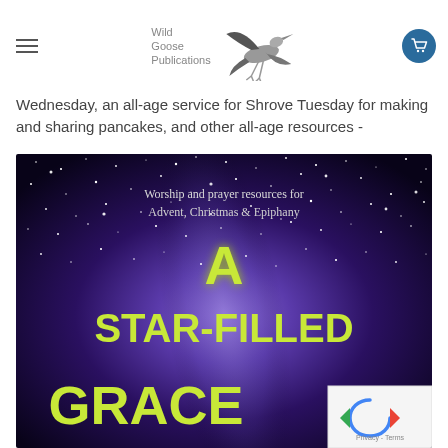Wild Goose Publications
Wednesday, an all-age service for Shrove Tuesday for making and sharing pancakes, and other all-age resources -
[Figure (photo): Book cover for 'A Star-Filled Grace' - a night sky filled with stars in deep blue and purple tones, with green/yellow text. Top subtitle reads 'Worship and prayer resources for Advent, Christmas & Epiphany'. Large title text reads 'A STAR-FILLED GRACE'.]